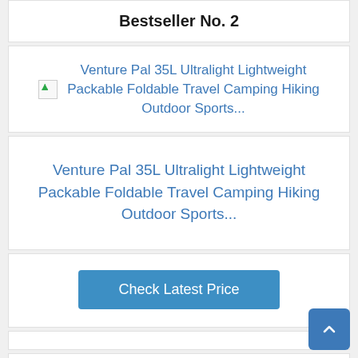Bestseller No. 2
[Figure (other): Broken image placeholder next to product link text: Venture Pal 35L Ultralight Lightweight Packable Foldable Travel Camping Hiking Outdoor Sports...]
Venture Pal 35L Ultralight Lightweight Packable Foldable Travel Camping Hiking Outdoor Sports...
Check Latest Price
Bestseller No. 3